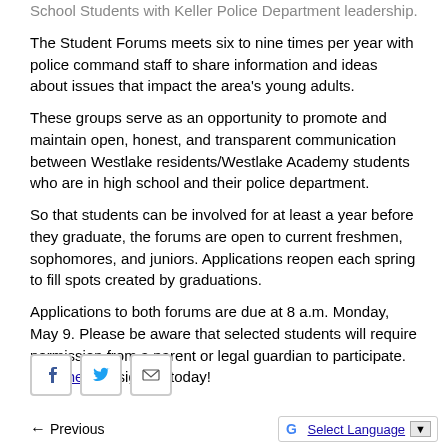School Students with Keller Police Department leadership.
The Student Forums meets six to nine times per year with police command staff to share information and ideas about issues that impact the area's young adults.
These groups serve as an opportunity to promote and maintain open, honest, and transparent communication between Westlake residents/Westlake Academy students who are in high school and their police department.
So that students can be involved for at least a year before they graduate, the forums are open to current freshmen, sophomores, and juniors. Applications reopen each spring to fill spots created by graduations.
Applications to both forums are due at 8 a.m. Monday, May 9. Please be aware that selected students will require permission from a parent or legal guardian to participate.  Click here to sign up today!
Previous